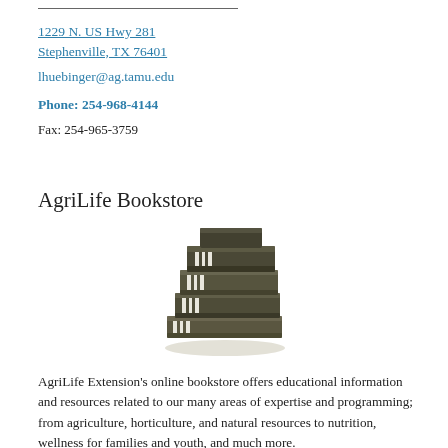1229 N. US Hwy 281
Stephenville, TX 76401
lhuebinger@ag.tamu.edu
Phone: 254-968-4144
Fax: 254-965-3759
AgriLife Bookstore
[Figure (illustration): Stack of books illustration representing the AgriLife Bookstore]
AgriLife Extension's online bookstore offers educational information and resources related to our many areas of expertise and programming; from agriculture, horticulture, and natural resources to nutrition, wellness for families and youth, and much more.